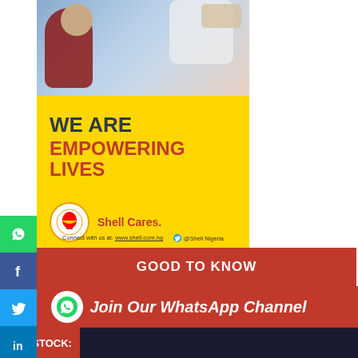[Figure (photo): Shell 'We Are Empowering Lives – Shell Cares' advertisement banner with yellow background, Shell logo, and a photo of a medical/healthcare scene at the top]
Shell Digital Plan RESPONSIVE600x750
GOOD TO KNOW
[Figure (photo): Partial article photo with dark background]
[Figure (infographic): Join Our WhatsApp Channel promotional banner in red with WhatsApp icon]
NSE STOCK: